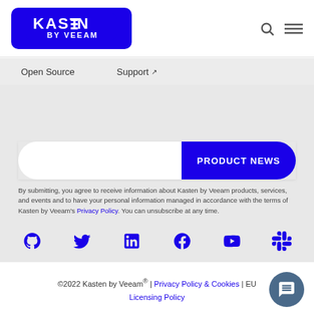[Figure (logo): Kasten by Veeam logo — white text on blue rounded rectangle background]
[Figure (other): Search icon and hamburger menu icon in header]
Open Source
Support ↗
PRODUCT NEWS (button)
By submitting, you agree to receive information about Kasten by Veeam products, services, and events and to have your personal information managed in accordance with the terms of Kasten by Veeam's Privacy Policy. You can unsubscribe at any time.
[Figure (other): Social media icons: GitHub, Twitter, LinkedIn, Facebook, YouTube, Slack — all in blue]
©2022 Kasten by Veeam® | Privacy Policy & Cookies | EU Licensing Policy